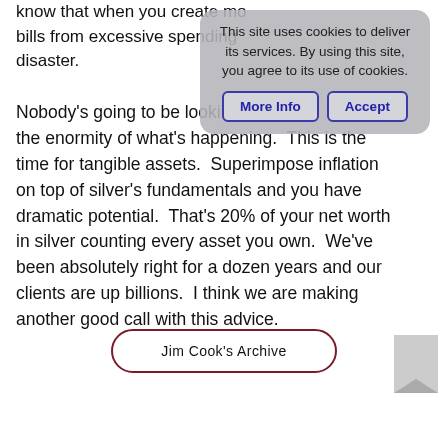know that when you create mo... bills from excessive spending... disaster.
Nobody's going to be looking at... the enormity of what's happening.  This is the time for tangible assets.  Superimpose inflation on top of silver's fundamentals and you have dramatic potential.  That's 20% of your net worth in silver counting every asset you own.  We've been absolutely right for a dozen years and our clients are up billions.  I think we are making another good call with this advice.
[Figure (other): Cookie consent banner with text: This site uses cookies to deliver its services. By using this site, you agree to its use of cookies. Buttons: More Info, Accept]
Jim Cook's Archive